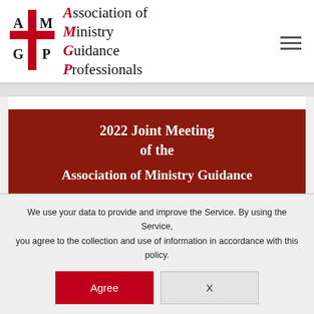[Figure (logo): AMGP cross logo with letters A, M, G, P in quadrants of a red cross]
Association of Ministry Guidance Professionals
2022 Joint Meeting of the Association of Ministry Guidance
We use your data to provide and improve the Service. By using the Service, you agree to the collection and use of information in accordance with this policy.